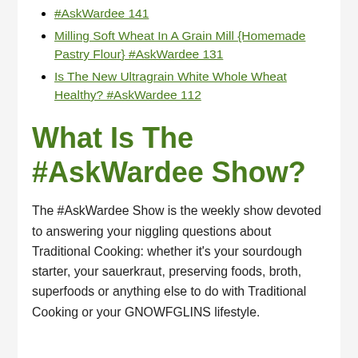#AskWardee 141
Milling Soft Wheat In A Grain Mill {Homemade Pastry Flour} #AskWardee 131
Is The New Ultragrain White Whole Wheat Healthy? #AskWardee 112
What Is The #AskWardee Show?
The #AskWardee Show is the weekly show devoted to answering your niggling questions about Traditional Cooking: whether it's your sourdough starter, your sauerkraut, preserving foods, broth, superfoods or anything else to do with Traditional Cooking or your GNOWFGLINS lifestyle.